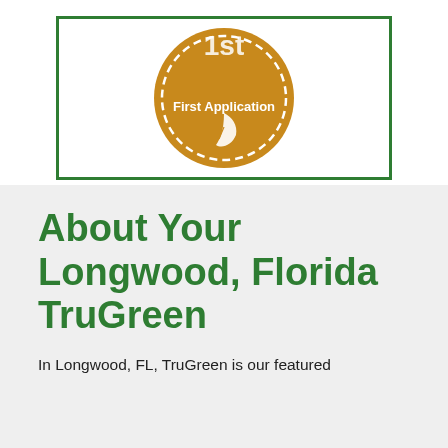[Figure (illustration): An orange/golden circular badge with dashed border outline showing 'First Application' text and a leaf icon, displayed inside a green-bordered white box.]
About Your Longwood, Florida TruGreen
In Longwood, FL, TruGreen is our featured